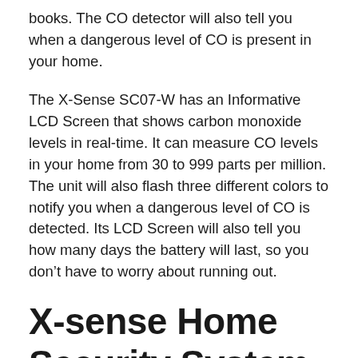books. The CO detector will also tell you when a dangerous level of CO is present in your home.
The X-Sense SC07-W has an Informative LCD Screen that shows carbon monoxide levels in real-time. It can measure CO levels in your home from 30 to 999 parts per million. The unit will also flash three different colors to notify you when a dangerous level of CO is detected. Its LCD Screen will also tell you how many days the battery will last, so you don't have to worry about running out.
X-sense Home Security System